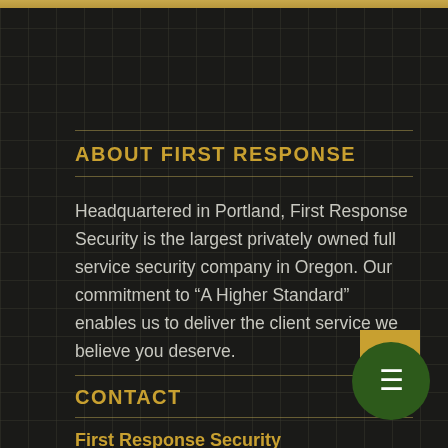ABOUT FIRST RESPONSE
Headquartered in Portland, First Response Security is the largest privately owned full service security company in Oregon. Our commitment to “A Higher Standard” enables us to deliver the client service we believe you deserve.
CONTACT
First Response Security